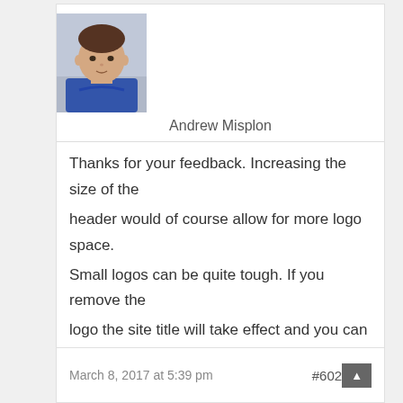[Figure (photo): Profile photo of Andrew Misplon, a man in a blue hoodie]
Andrew Misplon
Thanks for your feedback. Increasing the size of the header would of course allow for more logo space. Small logos can be quite tough. If you remove the logo the site title will take effect and you can set the site title font at
Customize > Theme Design > Header > Site Title Font
You could then choose from a list of Google fonts.
Would that help?
March 8, 2017 at 5:39 pm  #602